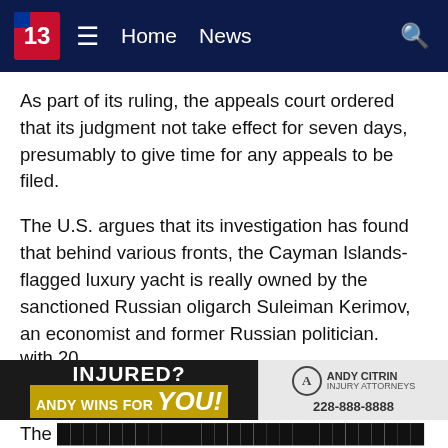13 | Home | News
As part of its ruling, the appeals court ordered that its judgment not take effect for seven days, presumably to give time for any appeals to be filed.
The U.S. argues that its investigation has found that behind various fronts, the Cayman Islands-flagged luxury yacht is really owned by the sanctioned Russian oligarch Suleiman Kerimov, an economist and former Russian politician.
Kerimov made a fortune investing in Russian gold producer Polyus, with Forbes magazine putting his net worth at $16 billion. The U.S. first sanctioned him in 2018 after he'd been detained in France and accused of money laundering there, sometimes arriving with suitcases stuffed with 20...
[Figure (infographic): Advertisement banner: INJURED? ANDY WINS FOR YOU! - Andy Citrin Injury Attorneys - 228-888-8888]